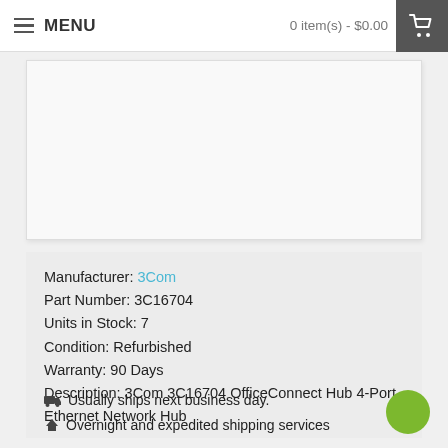MENU   0 item(s) - $0.00
[Figure (photo): Product image placeholder area (white/light grey box)]
Manufacturer: 3Com
Part Number: 3C16704
Units in Stock: 7
Condition: Refurbished
Warranty: 90 Days
Description: 3Com 3C16704 OfficeConnect Hub 4-Port Ethernet Network Hub
🚚 Usually ships next business day.
✈ Overnight and expedited shipping services